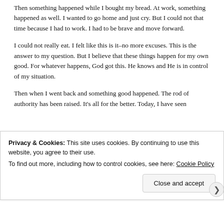Then something happened while I bought my bread. At work, something happened as well. I wanted to go home and just cry. But I could not that time because I had to work. I had to be brave and move forward.
I could not really eat. I felt like this is it–no more excuses. This is the answer to my question. But I believe that these things happen for my own good. For whatever happens, God got this. He knows and He is in control of my situation.
Then when I went back and something good happened. The rod of authority has been raised. It's all for the better. Today, I have seen
Privacy & Cookies: This site uses cookies. By continuing to use this website, you agree to their use.
To find out more, including how to control cookies, see here: Cookie Policy